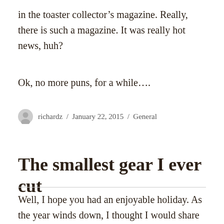in the toaster collector's magazine. Really, there is such a magazine. It was really hot news, huh?
Ok, no more puns, for a while....
richardz / January 22, 2015 / General
The smallest gear I ever cut
Well, I hope you had an enjoyable holiday. As the year winds down, I thought I would share a picture of the smallest gear I ever cut. It was not something I would...